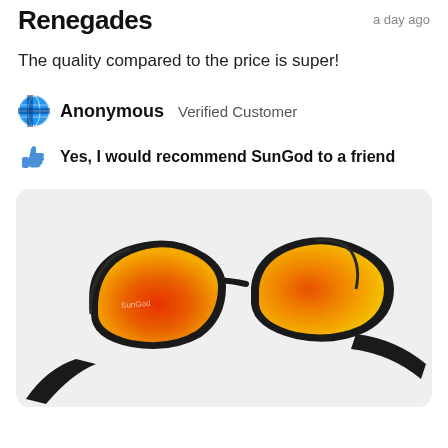Renegades
a day ago
The quality compared to the price is super!
Anonymous   Verified Customer
Yes, I would recommend SunGod to a friend
[Figure (photo): SunGod Renegades sunglasses with black frame and orange-red mirrored lenses, viewed from a low angle against a light grey background]